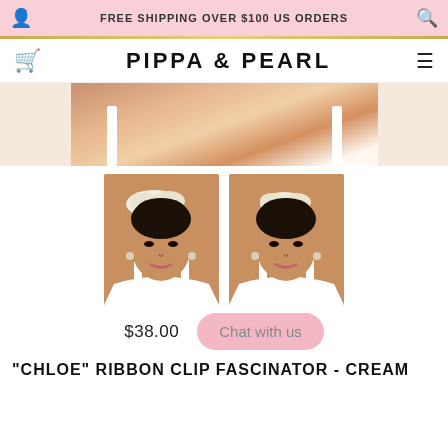FREE SHIPPING OVER $100 US ORDERS
PIPPA & PEARL
[Figure (photo): Close-up cropped photo of a model wearing a white top, showing bare shoulder and décolletage area]
[Figure (photo): Thumbnail photo of a woman wearing a cream ribbon clip fascinator hair accessory, front-facing, white tank top]
[Figure (photo): Thumbnail photo of a woman wearing a cream ribbon clip fascinator hair accessory, slight angle, white tank top]
$38.00
Chat with us
"CHLOE" RIBBON CLIP FASCINATOR - CREAM